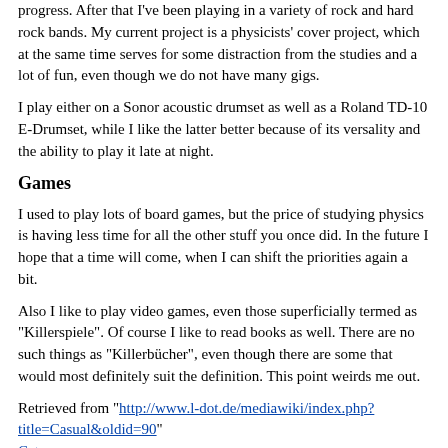progress. After that I've been playing in a variety of rock and hard rock bands. My current project is a physicists' cover project, which at the same time serves for some distraction from the studies and a lot of fun, even though we do not have many gigs.
I play either on a Sonor acoustic drumset as well as a Roland TD-10 E-Drumset, while I like the latter better because of its versality and the ability to play it late at night.
Games
I used to play lots of board games, but the price of studying physics is having less time for all the other stuff you once did. In the future I hope that a time will come, when I can shift the priorities again a bit.
Also I like to play video games, even those superficially termed as "Killerspiele". Of course I like to read books as well. There are no such things as "Killerbücher", even though there are some that would most definitely suit the definition. This point weirds me out.
Retrieved from "http://www.l-dot.de/mediawiki/index.php?title=Casual&oldid=90"
Category: